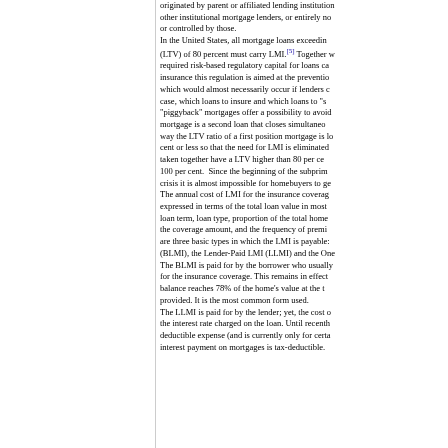originated by parent or affiliated lending institutions, other institutional mortgage lenders, or entirely not owned or controlled by those.
In the United States, all mortgage loans exceeding a loan-to-value (LTV) of 80 percent must carry LMI.[5] Together with the required risk-based regulatory capital for loans carrying LMI insurance this regulation is aimed at the prevention of losses, which would almost necessarily occur if lenders could, in each case, which loans to insure and which loans to "self-insure". "piggyback" mortgages offer a possibility to avoid LMI. A piggyback mortgage is a second loan that closes simultaneously, in this way the LTV ratio of a first position mortgage is lowered to 80 per cent or less so that the need for LMI is eliminated. Both loans taken together have a LTV higher than 80 per cent, often up to 100 per cent. Since the beginning of the subprime mortgage crisis it is almost impossible for homebuyers to get.
The annual cost of LMI for the insurance coverage amount is expressed in terms of the total loan value in most cases. The loan term, loan type, proportion of the total home value borrowed, the coverage amount, and the frequency of premium payments are three basic types in which the LMI is payable: Borrower-Paid (BLMI), the Lender-Paid LMI (LLMI) and the One-time LMI.
The BLMI is paid for by the borrower who usually pays a monthly for the insurance coverage. This remains in effect until the loan balance reaches 78% of the home's value at the time the loan was provided. It is the most common form used.
The LLMI is paid for by the lender; yet, the cost of it is built into the interest rate charged on the loan. Until recently, it was not a tax-deductible expense (and is currently only for certain borrowers). The interest payment on mortgages is tax-deductible.